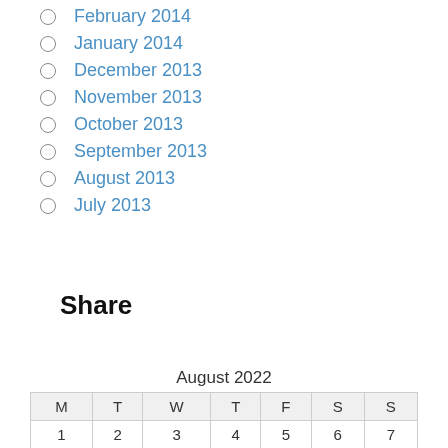February 2014
January 2014
December 2013
November 2013
October 2013
September 2013
August 2013
July 2013
Share
August 2022
| M | T | W | T | F | S | S |
| --- | --- | --- | --- | --- | --- | --- |
| 1 | 2 | 3 | 4 | 5 | 6 | 7 |